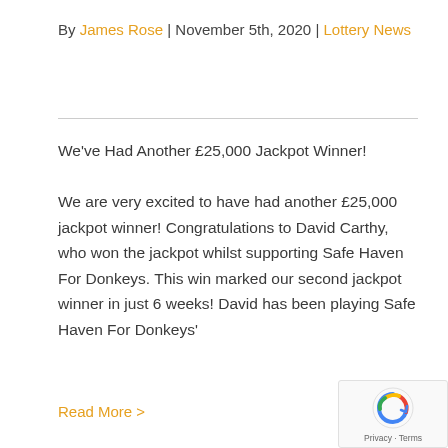By James Rose | November 5th, 2020 | Lottery News
We've Had Another £25,000 Jackpot Winner! We are very excited to have had another £25,000 jackpot winner! Congratulations to David Carthy, who won the jackpot whilst supporting Safe Haven For Donkeys. This win marked our second jackpot winner in just 6 weeks! David has been playing Safe Haven For Donkeys'
Read More >